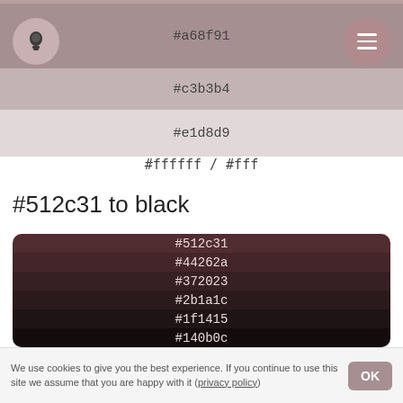[Figure (infographic): Color swatch band for #a68f91 (muted rose) with lightbulb button on left and hamburger menu button on right]
#a68f91
#c3b3b4
#e1d8d9
#ffffff / #fff
#512c31 to black
[Figure (infographic): Gradient color swatches from dark maroon #512c31 to near-black #140b0c, shown as horizontal bands]
#512c31
#44262a
#372023
#2b1a1c
#1f1415
#140b0c
We use cookies to give you the best experience. If you continue to use this site we assume that you are happy with it (privacy policy)